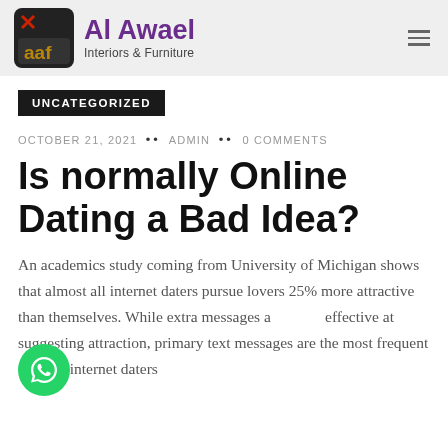Al Awael Interiors & Furniture
UNCATEGORIZED
OCTOBER 21, 2021 •• ADMIN •• 0 COMMENTS
Is normally Online Dating a Bad Idea?
An academics study coming from University of Michigan shows that almost all internet daters pursue lovers 25% more attractive than themselves. While extra messages a effective at suggesting attraction, primary text messages are the most frequent way for internet daters